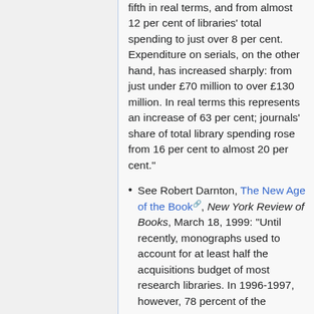fifth in real terms, and from almost 12 per cent of libraries' total spending to just over 8 per cent. Expenditure on serials, on the other hand, has increased sharply: from just under £70 million to over £130 million. In real terms this represents an increase of 63 per cent; journals' share of total library spending rose from 16 per cent to almost 20 per cent."
See Robert Darnton, The New Age of the Book, New York Review of Books, March 18, 1999: "Until recently, monographs used to account for at least half the acquisitions budget of most research libraries. In 1996-1997, however, 78 percent of the